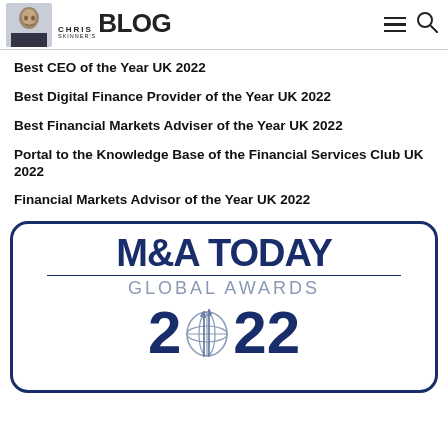Chris Skinner's Blog
Best CEO of the Year UK 2022
Best Digital Finance Provider of the Year UK 2022
Best Financial Markets Adviser of the Year UK 2022
Portal to the Knowledge Base of the Financial Services Club UK 2022
Financial Markets Advisor of the Year UK 2022
[Figure (logo): M&A Today Global Awards 2022 logo in navy blue and silver, with a globe icon and large '2022' numerals]